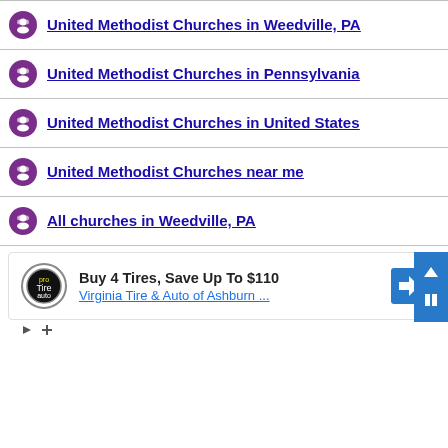United Methodist Churches in Weedville, PA
United Methodist Churches in Pennsylvania
United Methodist Churches in United States
United Methodist Churches near me
All churches in Weedville, PA
[Figure (screenshot): Advertisement: Buy 4 Tires, Save Up To $110 — Virginia Tire & Auto of Ashburn ...]